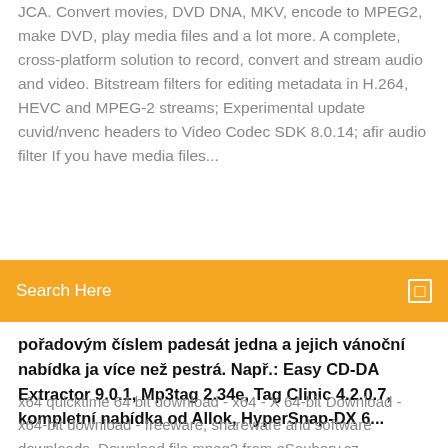JCA. Convert movies, DVD DNA, MKV, encode to MPEG2, make DVD, play media files and a lot more. A complete, cross-platform solution to record, convert and stream audio and video. Bitstream filters for editing metadata in H.264, HEVC and MPEG-2 streams; Experimental update cuvid/nvenc headers to Video Codec SDK 8.0.14; afir audio filter If you have media files...
Search Here
pořadovým číslem padesát jedna a jejich vánoční nabídka ja více než pestrá. Např.: Easy CD-DA Extractor 9.0.1, Mp3tag 2.34e, Tag Clinic 4.2.0.7, kompletní nabídka od Allok, HyperSnap-DX 6...
x64 quicktime 64 bit download - x64 - X 64-bit Download - x64-bit download - freeware, shareware and software downloads. Download file mpeg2 from eSoubory.cz Codecs.com | Download tools for converting, joining and splitting video files DVD Authoring Tools : Download DVD Authoring Tools to generate DVD files playable on home DVD player Download free Other